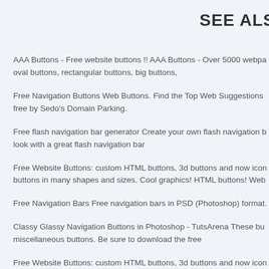SEE ALS
AAA Buttons - Free website buttons !! AAA Buttons - Over 5000 webpa oval buttons, rectangular buttons, big buttons,
Free Navigation Buttons Web Buttons. Find the Top Web Suggestions free by Sedo's Domain Parking.
Free flash navigation bar generator Create your own flash navigation b look with a great flash navigation bar
Free Website Buttons: custom HTML buttons, 3d buttons and now icon buttons in many shapes and sizes. Cool graphics! HTML buttons! Web
Free Navigation Bars Free navigation bars in PSD (Photoshop) format.
Classy Glassy Navigation Buttons in Photoshop - TutsArena These bu miscellaneous buttons. Be sure to download the free
Free Website Buttons: custom HTML buttons, 3d buttons and now icon buttons in many shapes and sizes. Cool graphics! HTML buttons! Web
Fos - clip art main directory Fos Development - web site development